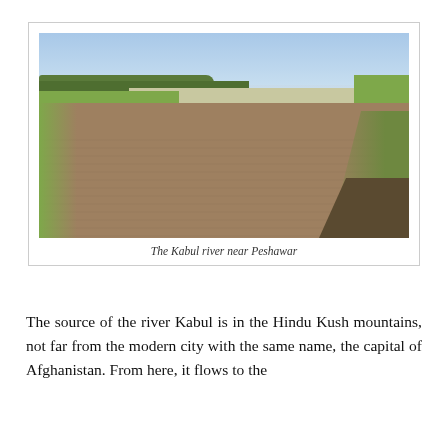[Figure (photo): A wide, muddy brown river (the Kabul river) seen from an elevated viewpoint near Peshawar. Green banks and flat agricultural land on the left, a steep green-and-earth embankment on the right. Distant treeline and pale sky in the background.]
The Kabul river near Peshawar
The source of the river Kabul is in the Hindu Kush mountains, not far from the modern city with the same name, the capital of Afghanistan. From here, it flows to the